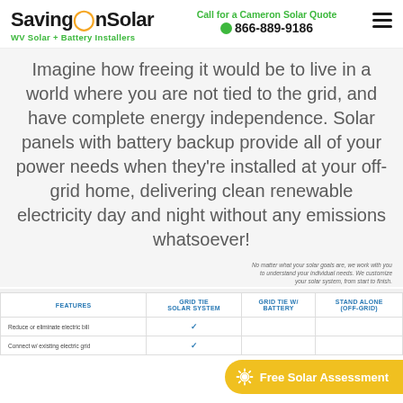SavingOnSolar — WV Solar + Battery Installers | Call for a Cameron Solar Quote 866-889-9186
Imagine how freeing it would be to live in a world where you are not tied to the grid, and have complete energy independence. Solar panels with battery backup provide all of your power needs when they're installed at your off-grid home, delivering clean renewable electricity day and night without any emissions whatsoever!
No matter what your solar goals are, we work with you to understand your individual needs. We customize your solar system, from start to finish.
| FEATURES | GRID TIE SOLAR SYSTEM | GRID TIE W/ BATTERY | STAND ALONE (OFF-GRID) |
| --- | --- | --- | --- |
| Reduce or eliminate electric bill | ✓ |  |  |
| Connect w/ existing electric grid | ✓ |  |  |
Free Solar Assessment